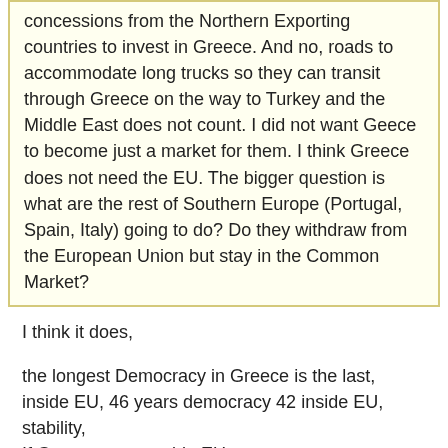concessions from the Northern Exporting countries to invest in Greece. And no, roads to accommodate long trucks so they can transit through Greece on the way to Turkey and the Middle East does not count. I did not want Geece to become just a market for them. I think Greece does not need the EU. The bigger question is what are the rest of Southern Europe (Portugal, Spain, Italy) going to do? Do they withdraw from the European Union but stay in the Common Market?
I think it does,
the longest Democracy in Greece is the last, inside EU, 46 years democracy 42 inside EU, stability,
If Greece was outside EU,
today we will be again under USA or Russian agents to rule upon us, or to divide us, like 1945 or 1967 or before 2 years, the betray of Makedonia,
we never had before stable constitution that long
Yet the Modern EU is not the EU I dreamed as kid at 1980's needs to back to its roots,
and kick imported economical ideas,
offcourse the problem in modern Greece is not inside or